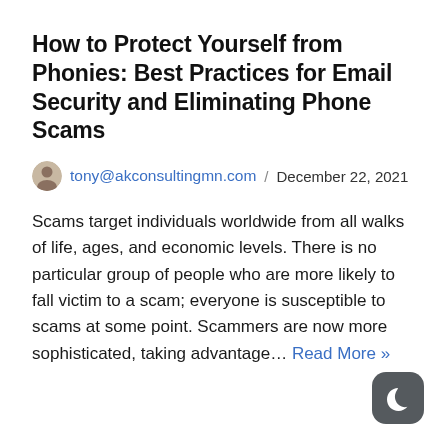How to Protect Yourself from Phonies: Best Practices for Email Security and Eliminating Phone Scams
tony@akconsultingmn.com / December 22, 2021
Scams target individuals worldwide from all walks of life, ages, and economic levels. There is no particular group of people who are more likely to fall victim to a scam; everyone is susceptible to scams at some point. Scammers are now more sophisticated, taking advantage… Read More »